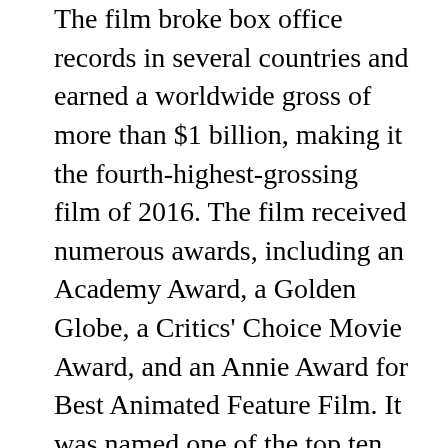The film broke box office records in several countries and earned a worldwide gross of more than $1 billion, making it the fourth-highest-grossing film of 2016. The film received numerous awards, including an Academy Award, a Golden Globe, a Critics' Choice Movie Award, and an Annie Award for Best Animated Feature Film. It was named one of the top ten best films of 2016 by the American Film Institute.
Kristen Bell TV Shows
2021 – Gossip Girl